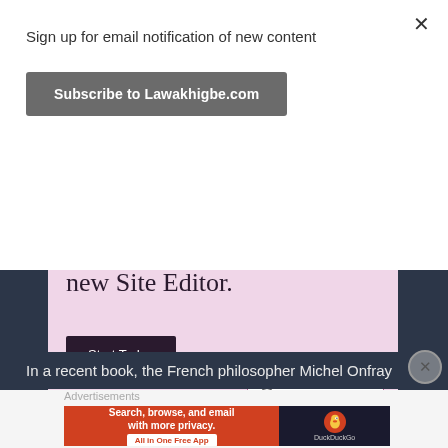Sign up for email notification of new content
Subscribe to Lawakhigbe.com
[Figure (screenshot): WordPress.com advertisement with pink background showing text 'on your site with the new Site Editor.' and a 'Start Today' button, plus the WordPress.com logo badge]
In a recent book, the French philosopher Michel Onfray
Advertisements
[Figure (screenshot): DuckDuckGo advertisement: 'Search, browse, and email with more privacy. All in One Free App' on orange background with DuckDuckGo duck logo on dark background]